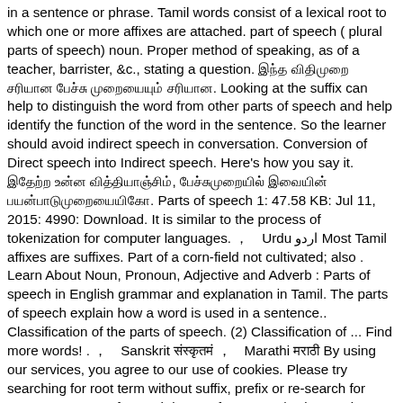in a sentence or phrase. Tamil words consist of a lexical root to which one or more affixes are attached. part of speech ( plural parts of speech) noun. Proper method of speaking, as of a teacher, barrister, &c., stating a question. இந்த விதிமுறை சரியான பேச்சு முறையையும் சரியான. Looking at the suffix can help to distinguish the word from other parts of speech and help identify the function of the word in the sentence. So the learner should avoid indirect speech in conversation. Conversion of Direct speech into Indirect speech. Here's how you say it. இதேற்ற உன்ன வித்தியாஞ்சிம், பேச்சுமுறையில் இவையின் பயன்பாடுமுறையையிகோ. Parts of speech 1: 47.58 KB: Jul 11, 2015: 4990: Download. It is similar to the process of tokenization for computer languages. ，　Urdu اردو Most Tamil affixes are suffixes. Part of a corn-field not cultivated; also . Learn About Noun, Pronoun, Adjective and Adverb : Parts of speech in English grammar and explanation in Tamil. The parts of speech explain how a word is used in a sentence.. Classification of the parts of speech. (2) Classification of ... Find more words! . ，　Sanskrit संस्कृतमं ，　Marathi मराठी By using our services, you agree to our use of cookies. Please try searching for root term without suffix, prefix or re-search for exact term parts of speech in near future.　　| Privacy It is important to use the correct word form in written sentences so that readers can clearly follow the intended meaning. Need to translate "part of speech" to Tamil? ，　Manipuri মণিপুরী . .　　|Updated: The parts of speech are commonly divided into open classes (nouns, verbs, adjectives, and adverbs) and closed